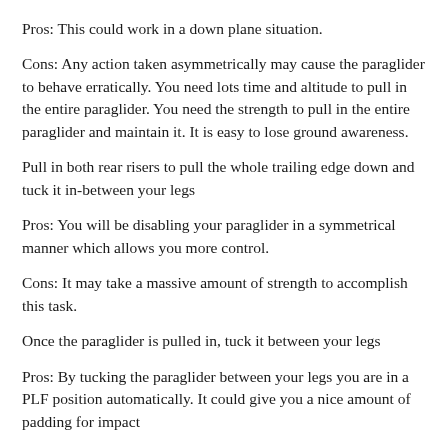Pros: This could work in a down plane situation.
Cons: Any action taken asymmetrically may cause the paraglider to behave erratically. You need lots time and altitude to pull in the entire paraglider. You need the strength to pull in the entire paraglider and maintain it. It is easy to lose ground awareness.
Pull in both rear risers to pull the whole trailing edge down and tuck it in-between your legs
Pros: You will be disabling your paraglider in a symmetrical manner which allows you more control.
Cons: It may take a massive amount of strength to accomplish this task.
Once the paraglider is pulled in, tuck it between your legs
Pros: By tucking the paraglider between your legs you are in a PLF position automatically. It could give you a nice amount of padding for impact
Cons: Accomplishing this task in a reasonable amount of time will be difficult at best. The chance of re inflation can cause even more serious...